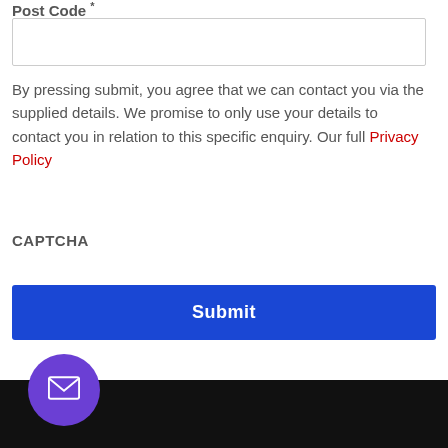Post Code *
By pressing submit, you agree that we can contact you via the supplied details. We promise to only use your details to contact you in relation to this specific enquiry. Our full Privacy Policy
CAPTCHA
Submit
[Figure (illustration): Purple circular button with white envelope/mail icon, positioned over dark footer bar]